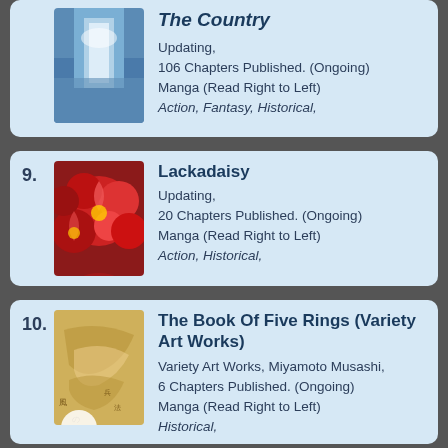The Country — Updating, 106 Chapters Published. (Ongoing) Manga (Read Right to Left) Action, Fantasy, Historical,
9. Lackadaisy — Updating, 20 Chapters Published. (Ongoing) Manga (Read Right to Left) Action, Historical,
10. The Book Of Five Rings (Variety Art Works) — Variety Art Works, Miyamoto Musashi, 6 Chapters Published. (Ongoing) Manga (Read Right to Left) Historical,